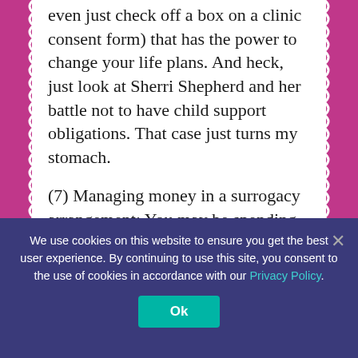even just check off a box on a clinic consent form) that has the power to change your life plans.  And heck, just look at Sherri Shepherd and her battle not to have child support obligations.  That case just turns my stomach.
(7) Managing money in a surrogacy arrangement:  You may be spending over $100,000 in connection with your surrogacy or receiving tens of thousands of dollars in compensation as a surrogate.  Do you know where the money is being held?  Do you know how and when it is being paid and what documentation if paid is acceptable...
We use cookies on this website to ensure you get the best user experience. By continuing to use this site, you consent to the use of cookies in accordance with our Privacy Policy.